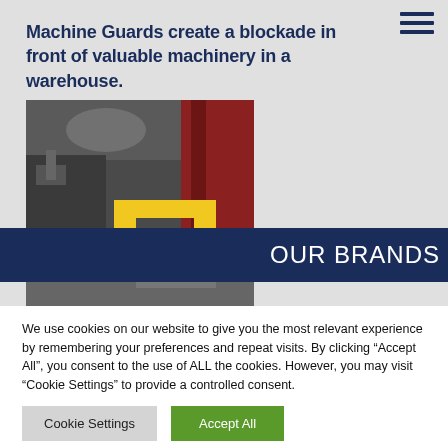Machine Guards create a blockade in front of valuable machinery in a warehouse.
[Figure (photo): Warehouse interior showing yellow machine guard posts/bollards protecting machinery, with industrial background.]
OUR BRANDS
[Figure (photo): Partial image of a person welding with blue-lit environment.]
We use cookies on our website to give you the most relevant experience by remembering your preferences and repeat visits. By clicking “Accept All”, you consent to the use of ALL the cookies. However, you may visit “Cookie Settings” to provide a controlled consent.